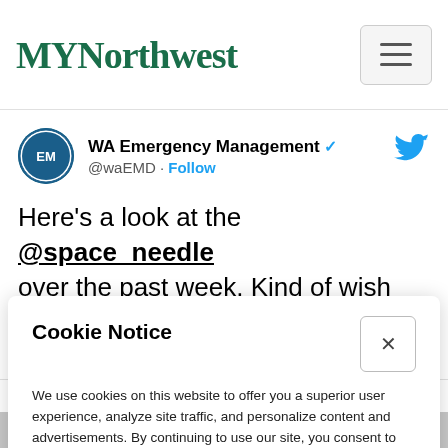MYNorthwest
[Figure (screenshot): Embedded tweet from WA Emergency Management (@waEMD) with Follow link and Twitter bird icon. Tweet text: Here's a look at the @space_needle over the past week. Kind of wish we could all go back to last Monday.]
Cookie Notice
We use cookies on this website to offer you a superior user experience, analyze site traffic, and personalize content and advertisements. By continuing to use our site, you consent to our use of cookies. Please visit our Privacy Policy for more information.